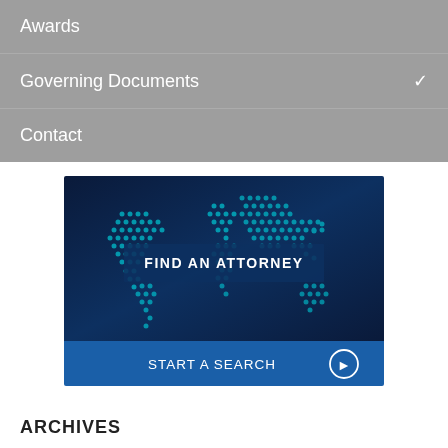Awards
Governing Documents
Contact
[Figure (screenshot): Find an Attorney banner with a dotted world map on a dark blue gradient background. Text reads FIND AN ATTORNEY and START A SEARCH with a circle arrow icon.]
ARCHIVES